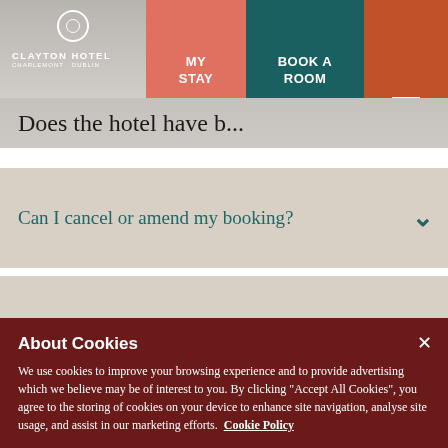CLAYTON HOTEL CHARLEMONT DUBLIN
Does the hotel have [...]
Can I cancel or amend my booking?
Is there a gym in the hotel?
Are there meeting rooms or conference facilities?
About Cookies
We use cookies to improve your browsing experience and to provide advertising which we believe may be of interest to you. By clicking "Accept All Cookies", you agree to the storing of cookies on your device to enhance site navigation, analyse site usage, and assist in our marketing efforts. Cookie Policy